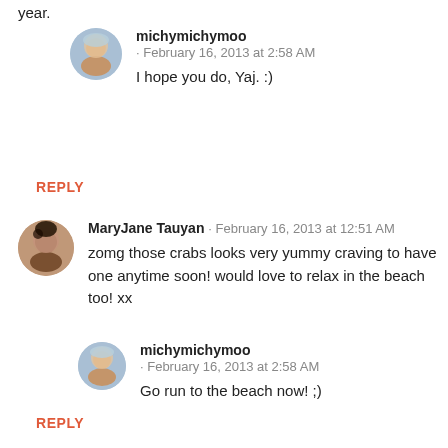year.
michymichymoo · February 16, 2013 at 2:58 AM
I hope you do, Yaj. :)
REPLY
MaryJane Tauyan · February 16, 2013 at 12:51 AM
zomg those crabs looks very yummy craving to have one anytime soon! would love to relax in the beach too! xx
michymichymoo · February 16, 2013 at 2:58 AM
Go run to the beach now! ;)
REPLY